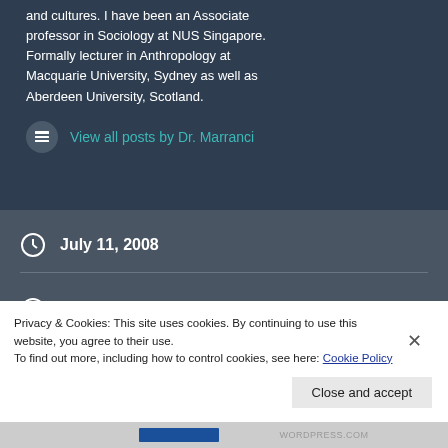and cultures. I have been an Associate professor in Sociology at NUS Singapore. Formally lecturer in Anthropology at Macquarie University, Sydney as well as Aberdeen University, Scotland.
View all posts by Dr. Marranci
July 11, 2008
The dog, the hat, the police and Muslims in Dundee
The “vu cumprà” and the fishing crisis in Senegal
Privacy & Cookies: This site uses cookies. By continuing to use this website, you agree to their use.
To find out more, including how to control cookies, see here: Cookie Policy
Close and accept